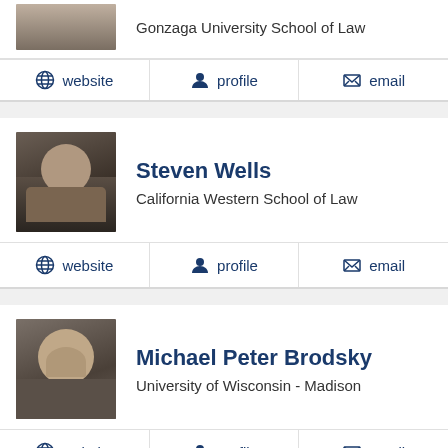Gonzaga University School of Law
website | profile | email
Steven Wells
California Western School of Law
website | profile | email
Michael Peter Brodsky
University of Wisconsin - Madison
website | profile | email